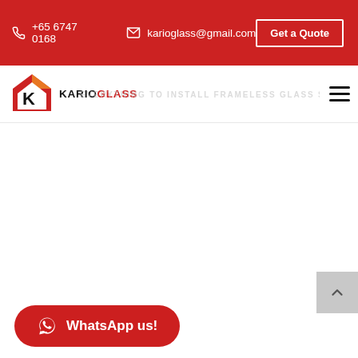+65 6747 0168  karioglass@gmail.com  Get a Quote
[Figure (logo): KarioGlass logo with house/K icon and text KARIOGLASS]
EVERYTHING TO INSTALL FRAMELESS GLASS SHOP FRONT
WhatsApp us!